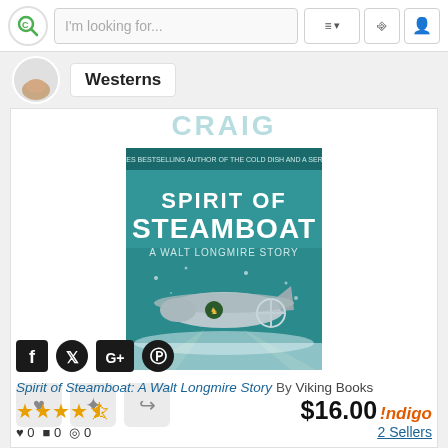I'm looking for...
Westerns
[Figure (illustration): Book cover for 'Spirit of Steamboat: A Walt Longmire Story' by Craig Johnson, published by Viking Books. Teal/blue cover with large white text, showing a WWII-era bomber aircraft in a snowy scene.]
[Figure (infographic): Three action buttons (heart, move/crosshair, share) and four social media icons (Facebook, Twitter, Google+, Pinterest)]
Spirit of Steamboat: A Walt Longmire Story By Viking Books
★★★★½
$16.00 Indigo
♥ 0  ● 0  ◎ 0
2 Sellers